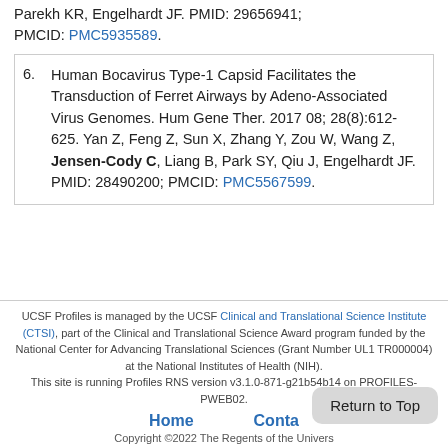Parekh KR, Engelhardt JF. PMID: 29656941; PMCID: PMC5935589.
6. Human Bocavirus Type-1 Capsid Facilitates the Transduction of Ferret Airways by Adeno-Associated Virus Genomes. Hum Gene Ther. 2017 08; 28(8):612-625. Yan Z, Feng Z, Sun X, Zhang Y, Zou W, Wang Z, Jensen-Cody C, Liang B, Park SY, Qiu J, Engelhardt JF. PMID: 28490200; PMCID: PMC5567599.
UCSF Profiles is managed by the UCSF Clinical and Translational Science Institute (CTSI), part of the Clinical and Translational Science Award program funded by the National Center for Advancing Translational Sciences (Grant Number UL1 TR000004) at the National Institutes of Health (NIH). This site is running Profiles RNS version v3.1.0-871-g21b54b14 on PROFILES-PWEB02. Home  Contact  Copyright ©2022 The Regents of the University